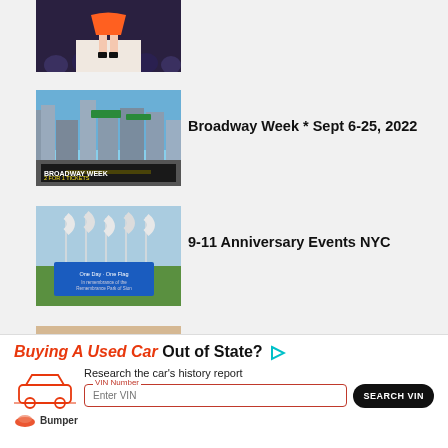[Figure (photo): Partial fashion show image cropped at top of page, showing model legs on runway with audience]
[Figure (photo): Broadway Week promotional image showing Times Square street scene with BROADWAY WEEK 2 FOR 1 TICKETS overlay]
Broadway Week * Sept 6-25, 2022
[Figure (photo): 9-11 Anniversary Events NYC - flags and blue sign at memorial park]
9-11 Anniversary Events NYC
[Figure (photo): New York Fashion Week - group of people in formal attire at event]
New York Fashion Week
[Figure (infographic): Advertisement for Bumper - Buying A Used Car Out of State? Research the car's history report. VIN Number input field with SEARCH VIN button and Bumper logo.]